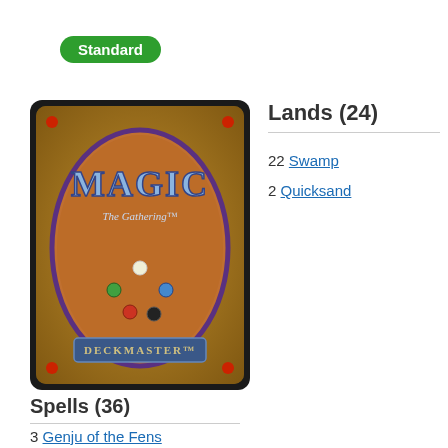Standard
[Figure (photo): Magic: The Gathering card back image showing the classic Deckmaster design with an orange oval, the Magic logo, five colored mana symbols, and the Deckmaster logo at the bottom]
Lands (24)
22 Swamp
2 Quicksand
Spells (36)
3 Genju of the Fens
2 Diabolic Tutor
3 Night of Souls' Betrayal
4 Hideous Laughter